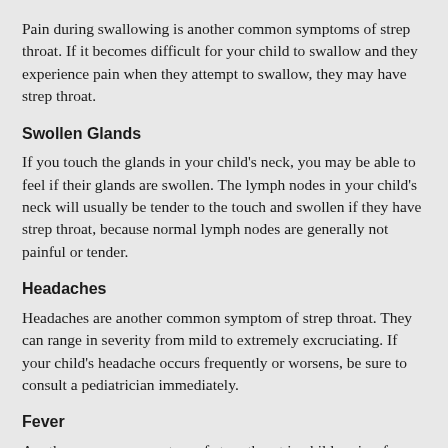Pain during swallowing is another common symptoms of strep throat. If it becomes difficult for your child to swallow and they experience pain when they attempt to swallow, they may have strep throat.
Swollen Glands
If you touch the glands in your child's neck, you may be able to feel if their glands are swollen. The lymph nodes in your child's neck will usually be tender to the touch and swollen if they have strep throat, because normal lymph nodes are generally not painful or tender.
Headaches
Headaches are another common symptom of strep throat. They can range in severity from mild to extremely excruciating. If your child's headache occurs frequently or worsens, be sure to consult a pediatrician immediately.
Fever
Another common symptom of strep throat in children is a fever over 100°F. A fever from strep throat is a symptom of a microbial infection...